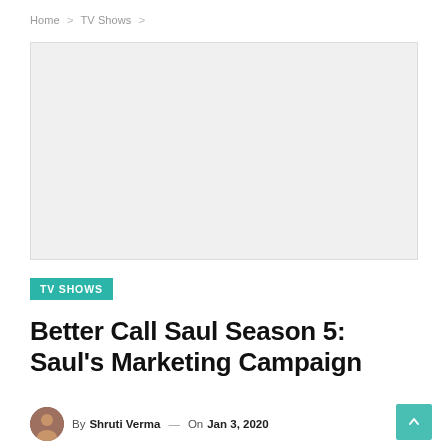Home > TV Shows >
[Figure (other): Advertisement placeholder box with light gray background]
TV SHOWS
Better Call Saul Season 5: Saul's Marketing Campaign
By Shruti Verma — On Jan 3, 2020